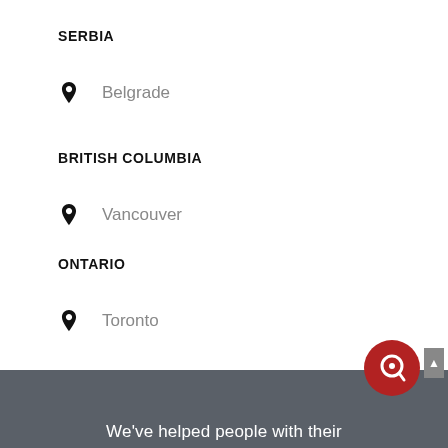SERBIA
Belgrade
BRITISH COLUMBIA
Vancouver
ONTARIO
Toronto
We've helped people with their